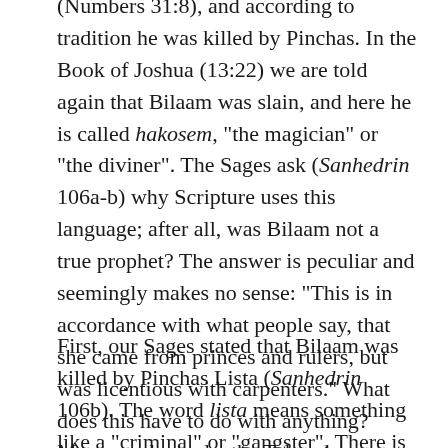(Numbers 31:8), and according to tradition he was killed by Pinchas. In the Book of Joshua (13:22) we are told again that Bilaam was slain, and here he is called hakosem, "the magician" or "the diviner". The Sages ask (Sanhedrin 106a-b) why Scripture uses this language; after all, was Bilaam not a true prophet? The answer is peculiar and seemingly makes no sense: "This is in accordance with what people say, that she came from princes and rulers, but was licentious with carpenters." What does this have to do with anything? More perplexingly, the Talmud goes on to make two more bizarre points about Bilaam.
First, our Sages stated that Bilaam was killed by Pinchas Lista (Sanhedrin 106b). The word lista means something like a "criminal" or "gangster". There is certainly no way that our Sages could refer to the great and holy Pinchas as lista! Second, the same passage in the Talmud says that Bilaam was killed when he was 33 years old. This is absolutely